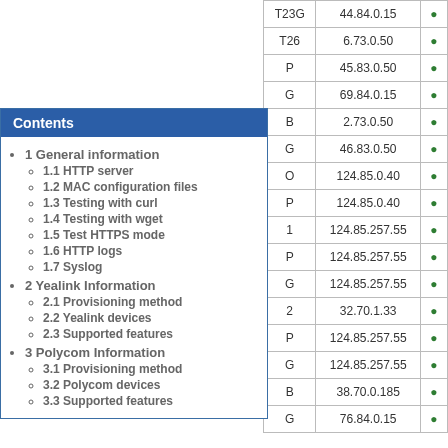| Model | Firmware |  |
| --- | --- | --- |
| T23G | 44.84.0.15 |  |
| T26 | 6.73.0.50 |  |
| ...P | 45.83.0.50 |  |
| ...G | 69.84.0.15 |  |
| ...B | 2.73.0.50 |  |
| ...G | 46.83.0.50 |  |
| ...O | 124.85.0.40 |  |
| ...P | 124.85.0.40 |  |
| ...1 | 124.85.257.55 |  |
| ...P | 124.85.257.55 |  |
| ...G | 124.85.257.55 |  |
| ...2 | 32.70.1.33 |  |
| ...P | 124.85.257.55 |  |
| ...G | 124.85.257.55 |  |
| ...B | 38.70.0.185 |  |
| ...G | 76.84.0.15 |  |
Contents
1 General information
1.1 HTTP server
1.2 MAC configuration files
1.3 Testing with curl
1.4 Testing with wget
1.5 Test HTTPS mode
1.6 HTTP logs
1.7 Syslog
2 Yealink Information
2.1 Provisioning method
2.2 Yealink devices
2.3 Supported features
3 Polycom Information
3.1 Provisioning method
3.2 Polycom devices
3.3 Supported features